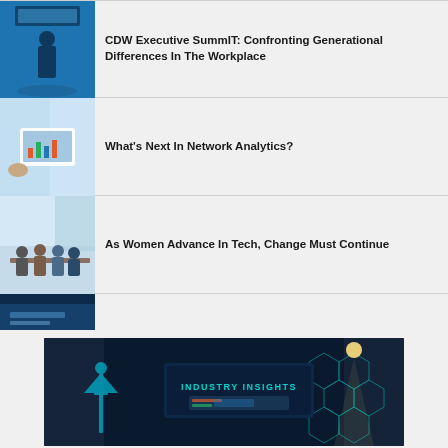[Figure (photo): Woman presenting on stage at CDW conference with blue lit background]
CDW Executive SummIT: Confronting Generational Differences In The Workplace
[Figure (photo): Person working at laptop with analytics dashboard displayed on screen]
What's Next In Network Analytics?
[Figure (photo): Group of diverse professionals at a meeting table in modern office]
As Women Advance In Tech, Change Must Continue
[Figure (photo): Woman presenting at CDW Executive SummIT stage with large screen showing Hybrid Teams content]
CDW Executive SummIT: Optimizing The Hybrid Experience For Employees
[Figure (photo): Industry Insights event stage with blue digital network graphics and Space Needle silhouette]